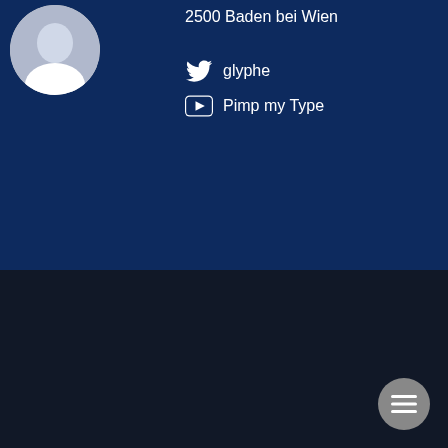2500 Baden bei Wien
glyphe
Pimp my Type
Oliver Schöndorfer, © 2006-2022 | Impressum | Datenschutz
¶ No cookies or other horrible tracking crap. Nothing. The typeface Bakemono on this site was neither stretched, faux-bolded nor harmed in any other way. Please be good to type.